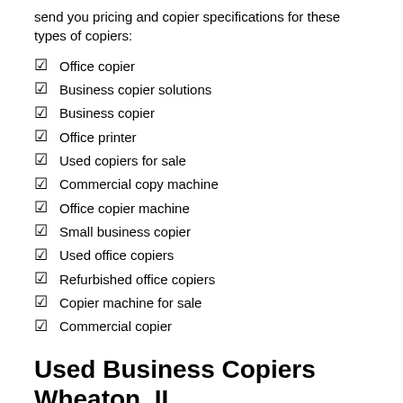send you pricing and copier specifications for these types of copiers:
Office copier
Business copier solutions
Business copier
Office printer
Used copiers for sale
Commercial copy machine
Office copier machine
Small business copier
Used office copiers
Refurbished office copiers
Copier machine for sale
Commercial copier
Used Business Copiers Wheaton, IL